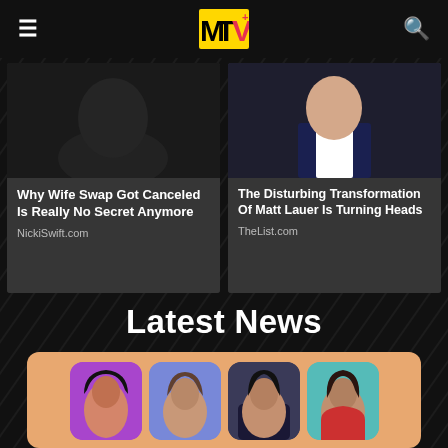MTV (logo, menu, search)
[Figure (photo): Article card: Why Wife Swap Got Canceled Is Really No Secret Anymore — NickiSwift.com]
[Figure (photo): Article card: The Disturbing Transformation Of Matt Lauer Is Turning Heads — TheList.com]
Latest News
[Figure (photo): Cast grid of female TV personalities on colorful tiled background (orange), showing 4+ portrait photos in rounded square tiles colored purple, blue/gray, dark, teal]